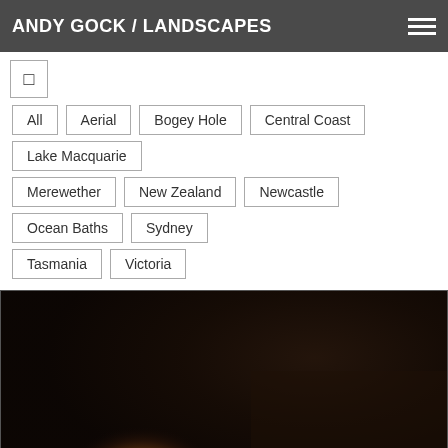ANDY GOCK / LANDSCAPES
☐
All
Aerial
Bogey Hole
Central Coast
Lake Macquarie
Merewether
New Zealand
Newcastle
Ocean Baths
Sydney
Tasmania
Victoria
[Figure (photo): Dark landscape photograph with warm golden-orange light glowing in the lower-center area, suggesting a sunset or artificial light source reflecting on a surface, set against a very dark brown/black background.]